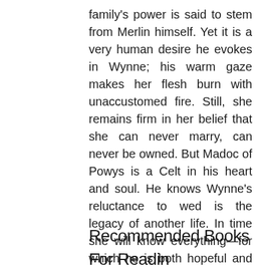family's power is said to stem from Merlin himself. Yet it is a very human desire he evokes in Wynne; his warm gaze makes her flesh burn with unaccustomed fire. Still, she remains firm in her belief that she can never marry, can never be owned. But Madoc of Powys is a Celt in his heart and soul. He knows Wynne's reluctance to wed is the legacy of another life. In time she will know everything—for which he is both hopeful and desperately afraid. For Wynne and Madoc have been lovers in another time, another place. But what unfinished destiny lays between them?
Recommended Books For Reading...